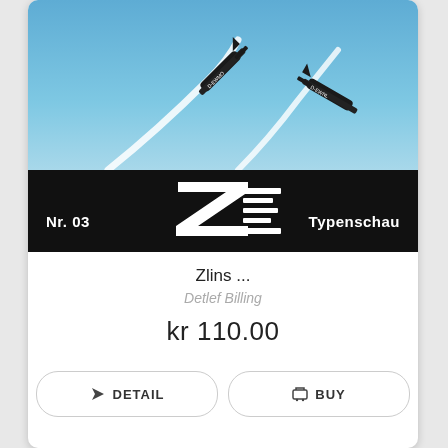[Figure (photo): Two dark aerobatic planes (Zlin aircraft) flying with white smoke trails against a blue sky, with a black band below showing the Zlin logo, 'Nr. 03' on the left and 'Typenschau' on the right.]
Zlins ...
Detlef Billing
kr 110.00
DETAIL
BUY